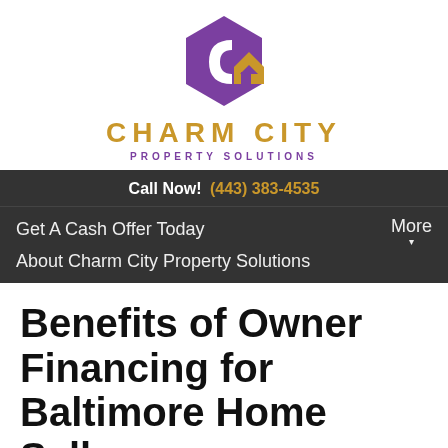[Figure (logo): Charm City Property Solutions logo with purple hexagon shape containing a white C and gold house icon]
CHARM CITY
PROPERTY SOLUTIONS
Call Now!  (443) 383-4535
Get A Cash Offer Today
About Charm City Property Solutions
More
Benefits of Owner Financing for Baltimore Home Sellers
September 2, 2019